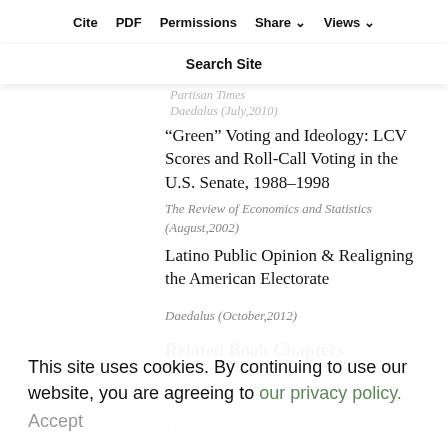Cite  PDF  Permissions  Share  Views  Search Site
Women & Legislative Leadership in the U.S. Congress: Representing Women's Interests in Partisan Times
Daedalus (July,2010)
“Green” Voting and Ideology: LCV Scores and Roll-Call Voting in the U.S. Senate, 1988–1998
The Review of Economics and Statistics (August,2002)
Latino Public Opinion & Realigning the American Electorate
Daedalus (October,2012)
Related Book Chapters
This site uses cookies. By continuing to use our website, you are agreeing to our privacy policy.
Accept
Partisan Models
Citric of Apple and the Resource among
The Partisan Technology Gap